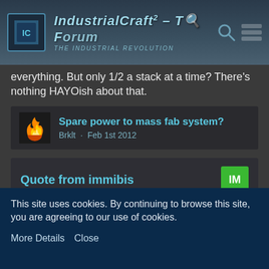IndustrialCraft² - The Forum · The Industrial Revolution
everything. But only 1/2 a stack at a time? There's nothing HAYOish about that.
Spare power to mass fab system?
Brklt · Feb 1st 2012
Quote from immibis
Do splitter cables actually enforce a 50-50 split like many people seem to think? Or is the redstone-triggered disconnecting their only function?
This site uses cookies. By continuing to browse this site, you are agreeing to our use of cookies.
More Details   Close